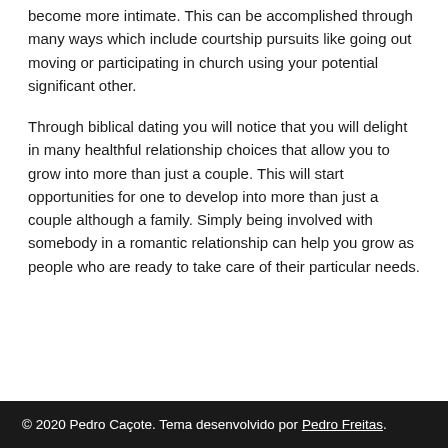become more intimate. This can be accomplished through many ways which include courtship pursuits like going out moving or participating in church using your potential significant other.
Through biblical dating you will notice that you will delight in many healthful relationship choices that allow you to grow into more than just a couple. This will start opportunities for one to develop into more than just a couple although a family. Simply being involved with somebody in a romantic relationship can help you grow as people who are ready to take care of their particular needs.
© 2020 Pedro Caçote. Tema desenvolvido por Pedro Freitas.